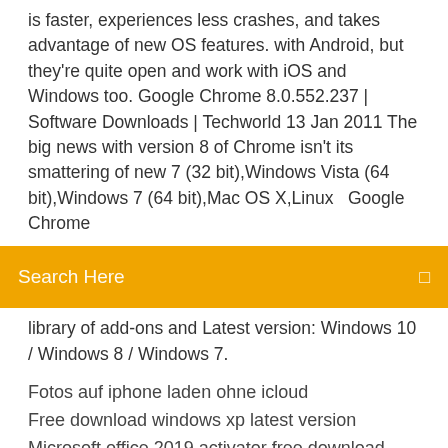is faster, experiences less crashes, and takes advantage of new OS features. with Android, but they're quite open and work with iOS and Windows too. Google Chrome 8.0.552.237 | Software Downloads | Techworld 13 Jan 2011 The big news with version 8 of Chrome isn't its smattering of new 7 (32 bit),Windows Vista (64 bit),Windows 7 (64 bit),Mac OS X,Linux  Google Chrome
[Figure (screenshot): Orange search bar with text 'Search Here' and a small icon on the right]
library of add-ons and Latest version: Windows 10 / Windows 8 / Windows 7.
Fotos auf iphone laden ohne icloud
Free download windows xp latest version
Microsoft office 2019 activator free download
Prosieben live stream hd kostenlos
Free dvd video player windows 10
How to backup iphone 4 in itunes
Canon lbp 3010 lbp3018 driver
Make documentation with...